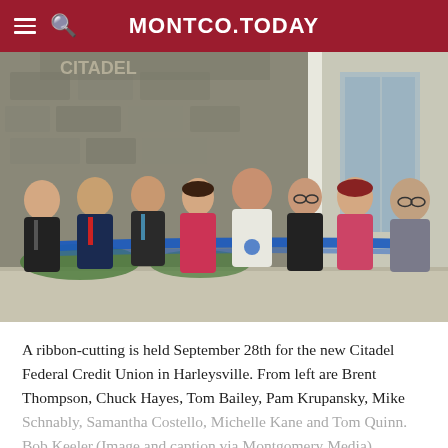MONTCO.TODAY
[Figure (photo): Group of eight people holding a blue ribbon at a ribbon-cutting ceremony outside a building with stone facade. They are posing and smiling for the photo.]
A ribbon-cutting is held September 28th for the new Citadel Federal Credit Union in Harleysville. From left are Brent Thompson, Chuck Hayes, Tom Bailey, Pam Krupansky, Mike Schnably, Samantha Costello, Michelle Kane and Tom Quinn. Bob Keeler. (Image and caption via Montgomery Media)